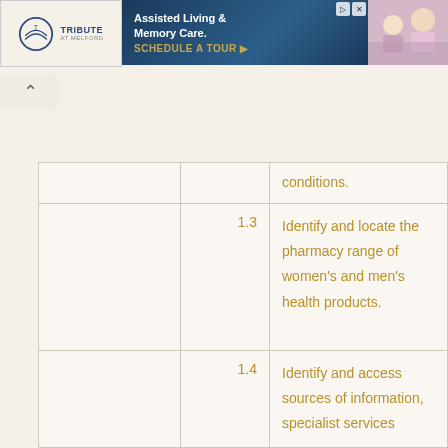[Figure (other): Advertisement banner for Tribute at Melford Assisted Living & Memory Care with a call to action 'Schedule a Tour']
|  | 1.3 | Identify and locate the pharmacy range of women's and men's health products. |
|  | 1.4 | Identify and access sources of information, specialist services |